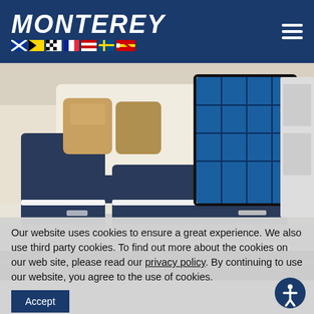MONTEREY
[Figure (photo): Interior of a Monterey boat showing navy blue and white upholstered seating, decorative pillows, and a blue-tinted window/door panel with grid pattern]
[Figure (photo): Partial view of a boat on a trailer showing wheels/tires against a dark background]
Our website uses cookies to ensure a great experience. We also use third party cookies. To find out more about the cookies on our web site, please read our privacy policy. By continuing to use our website, you agree to the use of cookies.
Accept